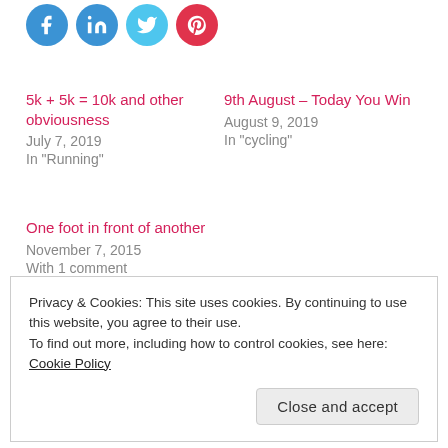[Figure (other): Row of four circular social media share buttons: Facebook (blue), LinkedIn (blue), Twitter (light blue), Pinterest (red)]
5k + 5k = 10k and other obviousness
July 7, 2019
In "Running"
9th August – Today You Win
August 9, 2019
In "cycling"
One foot in front of another
November 7, 2015
With 1 comment
Privacy & Cookies: This site uses cookies. By continuing to use this website, you agree to their use.
To find out more, including how to control cookies, see here: Cookie Policy
Close and accept